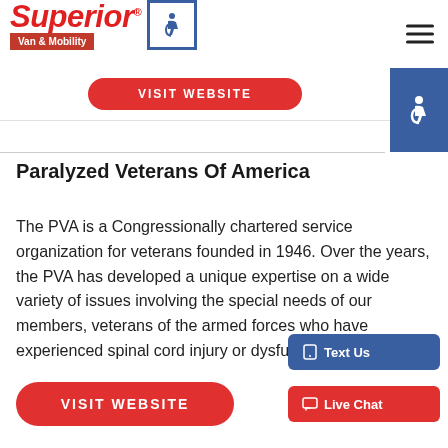[Figure (logo): Superior Van & Mobility logo with wheelchair accessibility icon and hamburger menu]
VISIT WEBSITE
Paralyzed Veterans Of America
The PVA is a Congressionally chartered service organization for veterans founded in 1946. Over the years, the PVA has developed a unique expertise on a wide variety of issues involving the special needs of our members, veterans of the armed forces who have experienced spinal cord injury or dysfunction.
VISIT WEBSITE
Text Us
Live Chat